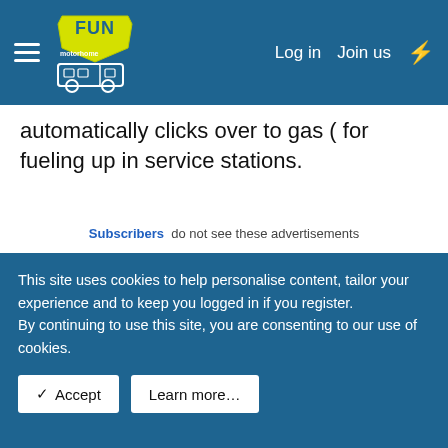MotorHome Fun — Log in | Join us
automatically clicks over to gas ( for fueling up in service stations.
Subscribers do not see these advertisements
Reply
Jaws — LIFE MEMBER
Dec 24, 2014  #12
This site uses cookies to help personalise content, tailor your experience and to keep you logged in if you register.
By continuing to use this site, you are consenting to our use of cookies.